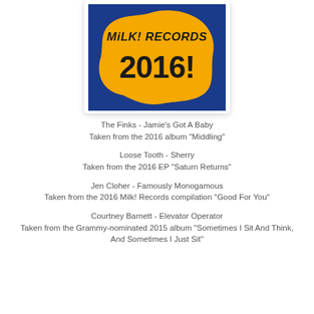[Figure (illustration): Milk! Records 2016! album cover — bright orange blob shape on a dark blue background with hand-drawn text reading 'MiLK! RECORDS 2016!']
The Finks - Jamie's Got A Baby
Taken from the 2016 album "Middling"
Loose Tooth - Sherry
Taken from the 2016 EP "Saturn Returns"
Jen Cloher - Famously Monogamous
Taken from the 2016 Milk! Records compilation "Good For You"
Courtney Barnett - Elevator Operator
Taken from the Grammy-nominated 2015 album "Sometimes I Sit And Think, And Sometimes I Just Sit"